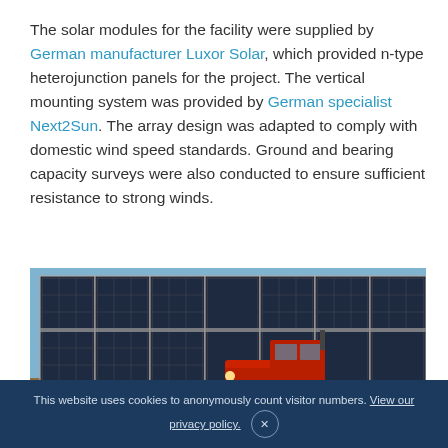The solar modules for the facility were supplied by German manufacturer Luxor Solar, which provided n-type heterojunction panels for the project. The vertical mounting system was provided by German specialist Next2Sun. The array design was adapted to comply with domestic wind speed standards. Ground and bearing capacity surveys were also conducted to ensure sufficient resistance to strong winds.
[Figure (photo): A red tractor with tillage equipment working in front of a row of vertically mounted bifacial solar panels at an agrivoltaic facility. The solar panel array is tall and runs across the full width of the image. Blue sky with clouds in the background.]
This website uses cookies to anonymously count visitor numbers. View our privacy policy. ×